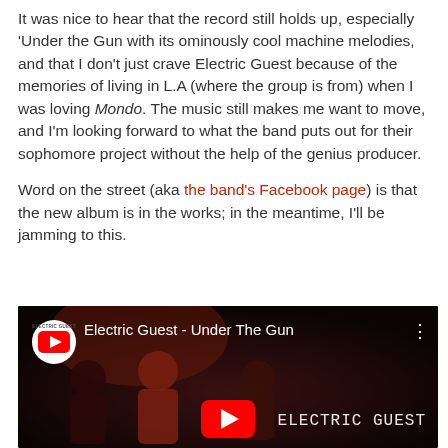It was nice to hear that the record still holds up, especially 'Under the Gun with its ominously cool machine melodies, and that I don't just crave Electric Guest because of the memories of living in L.A (where the group is from) when I was loving Mondo. The music still makes me want to move, and I'm looking forward to what the band puts out for their sophomore project without the help of the genius producer.
Word on the street (aka the band's Facebook page) is that the new album is in the works; in the meantime, I'll be jamming to this.
[Figure (screenshot): YouTube video thumbnail for 'Electric Guest - Under The Gun' showing the band performing on a dark stage with red play button overlay and channel icon]